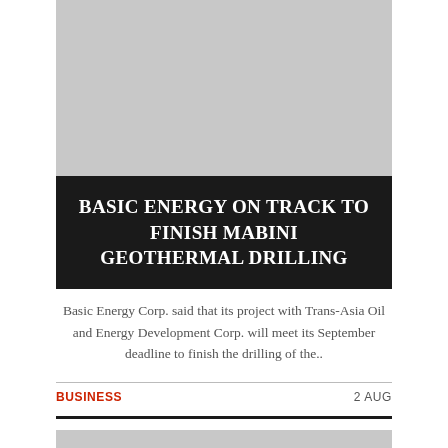[Figure (photo): Gray placeholder image at top of article card]
BASIC ENERGY ON TRACK TO FINISH MABINI GEOTHERMAL DRILLING
Basic Energy Corp. said that its project with Trans-Asia Oil and Energy Development Corp. will meet its September deadline to finish the drilling of the..
BUSINESS   2 AUG
[Figure (photo): Gray placeholder image at bottom of page]